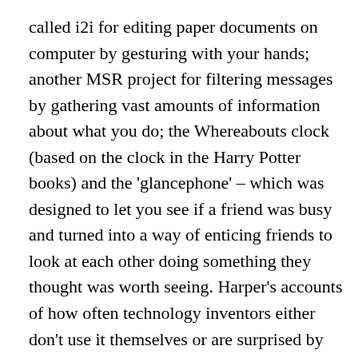called i2i for editing paper documents on computer by gesturing with your hands; another MSR project for filtering messages by gathering vast amounts of information about what you do; the Whereabouts clock (based on the clock in the Harry Potter books) and the 'glancephone' – which was designed to let you see if a friend was busy and turned into a way of enticing friends to look at each other doing something they thought was worth seeing. Harper's accounts of how often technology inventors either don't use it themselves or are surprised by how differently people use it in the real world are amusing – and a little worrying, because they suggest that academic research can be badly out of touch.